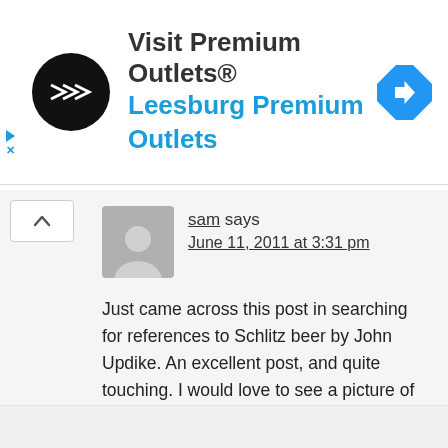[Figure (infographic): Advertisement banner for Visit Premium Outlets® Leesburg Premium Outlets, with circular black logo showing double arrow symbol and a blue diamond navigation icon on the right]
sam says
June 11, 2011 at 3:31 pm
Just came across this post in searching for references to Schlitz beer by John Updike. An excellent post, and quite touching. I would love to see a picture of the post card!
Reply